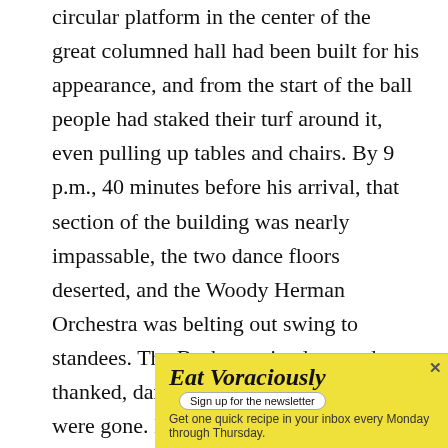circular platform in the center of the great columned hall had been built for his appearance, and from the start of the ball people had staked their turf around it, even pulling up tables and chairs. By 9 p.m., 40 minutes before his arrival, that section of the building was nearly impassable, the two dance floors deserted, and the Woody Herman Orchestra was belting out swing to standees. The Bushes arrived, waved, thanked, danced, and four minutes later were gone. But no matter how brief, their visit seemed to release the ballgoers into a livelier mode. "If you can stand to dance after watching Barbara and me, you have passed the test," Bush said before guiding his wife around to a few bars of "I Could Have Danced All Night." Earlier, lavishly-dressed supporters from Iowa, Missouri, North Carolina, Alabama and a few
[Figure (other): Advertisement banner for 'Eat Voraciously' newsletter with yellow background, italic bold title, a 'Sign up for the newsletter' pill button, and tagline 'Get one quick recipe in your inbox every Monday through Thursday.' with a close X button.]